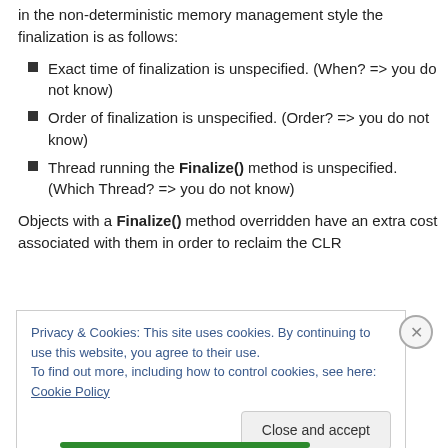in the non-deterministic memory management style the finalization is as follows:
Exact time of finalization is unspecified. (When? => you do not know)
Order of finalization is unspecified. (Order? => you do not know)
Thread running the Finalize() method is unspecified. (Which Thread? => you do not know)
Objects with a Finalize() method overridden have an extra cost associated with them in order to reclaim the CLR
Privacy & Cookies: This site uses cookies. By continuing to use this website, you agree to their use.
To find out more, including how to control cookies, see here: Cookie Policy
Close and accept